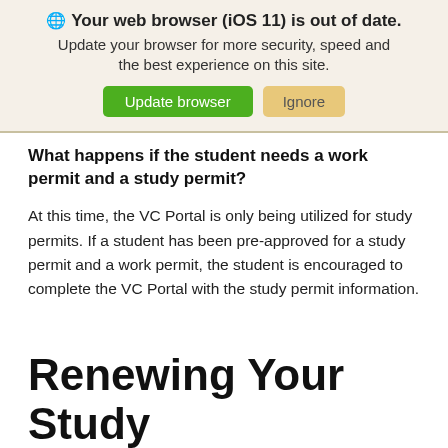[Figure (screenshot): Browser update notification banner with globe icon, bold title 'Your web browser (iOS 11) is out of date.', subtitle text, and two buttons: 'Update browser' (green) and 'Ignore' (tan/yellow)]
What happens if the student needs a work permit and a study permit?
At this time, the VC Portal is only being utilized for study permits. If a student has been pre-approved for a study permit and a work permit, the student is encouraged to complete the VC Portal with the study permit information.
Renewing Your Study